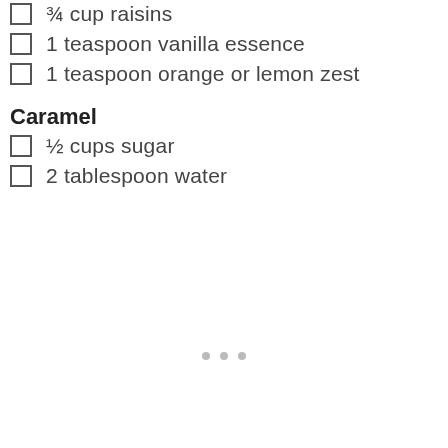¾ cup raisins
1 teaspoon vanilla essence
1 teaspoon orange or lemon zest
Caramel
½ cups sugar
2 tablespoon water